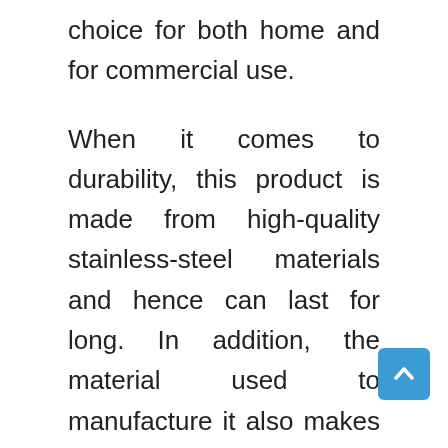choice for both home and for commercial use.
When it comes to durability, this product is made from high-quality stainless-steel materials and hence can last for long. In addition, the material used to manufacture it also makes it easy to clean. Of course, operating this meat slicer is just a breeze as it comes with instructions on how to use it.
The other feature that makes this machine a great choice for slicing is the efficiency. With it, you can slice up to 60 slices in just one min... In addition to that, the thickness of the slices is